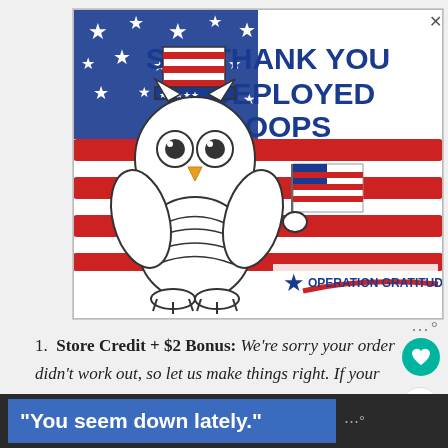[Figure (illustration): Operation Gratitude advertisement. 'SAY THANK YOU TO DEPLOYED TROOPS' text in dark navy blue on upper right. Background has American flag elements with red and white stripes and blue field with white stars. A cartoon owl wearing Uncle Sam hat and holding a small American flag. Operation Gratitude logo with star and swoosh in lower right.]
Store Credit + $2 Bonus: We're sorry your order didn't work out, so let us make things right. If your return arrives back to
"You seem down lately."